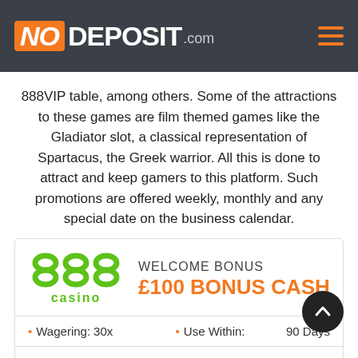NODEPOSIT.com
888VIP table, among others. Some of the attractions to these games are film themed games like the Gladiator slot, a classical representation of Spartacus, the Greek warrior. All this is done to attract and keep gamers to this platform. Such promotions are offered weekly, monthly and any special date on the business calendar.
[Figure (logo): 888 Casino logo with three green circles and 'casino' text in green]
WELCOME BONUS £100 BONUS CASH
• Wagering: 30x • Use Within: 90 Days
New Customers Only. 18+. Ts&Cs Apply. 1st time depositors at 888casino only • £20 min deposit • Claim within 48 hrs • Valid for selected games • Bonus wins capped at £500, excl. JP wins • 30x